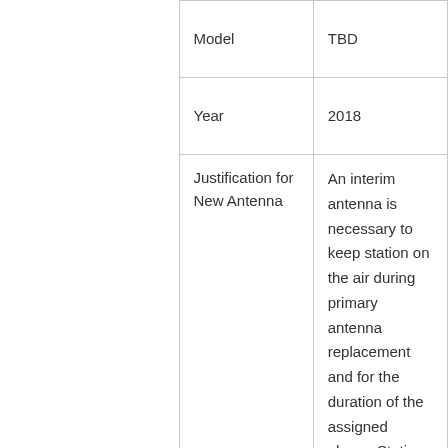|  | Field | Value |
| --- | --- | --- |
|  | Model | TBD |
|  | Year | 2018 |
|  | Justification for New Antenna | An interim antenna is necessary to keep station on the air during primary antenna replacement and for the duration of the assigned phase. Station will attempt to rent if renting is available at |